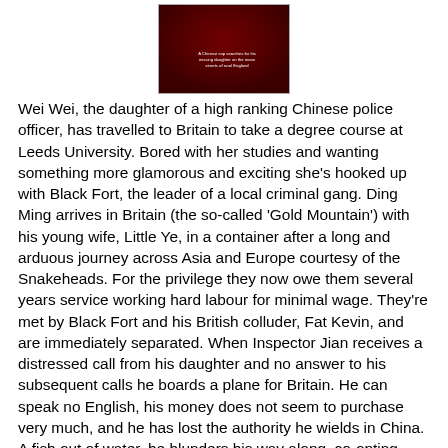[Figure (photo): Book cover image with dark red/black background and small white text at bottom right]
Wei Wei, the daughter of a high ranking Chinese police officer, has travelled to Britain to take a degree course at Leeds University.  Bored with her studies and wanting something more glamorous and exciting she's hooked up with Black Fort, the leader of a local criminal gang. Ding Ming arrives in Britain (the so-called 'Gold Mountain') with his young wife, Little Ye, in a container after a long and arduous journey across Asia and Europe courtesy of the Snakeheads.  For the privilege they now owe them several years service working hard labour for minimal wage.  They're met by Black Fort and his British colluder, Fat Kevin, and are immediately separated.  When Inspector Jian receives a distressed call from his daughter and no answer to his subsequent calls he boards a plane for Britain.  He can speak no English, his money does not seem to purchase very much, and he has lost the authority he wields in China.  A fish out of water, he blunders his way along, co-opting Chinese people to help translate.  He is soon on Wei Wei's and Black Fort's trail, kidnapping the naive peasant Ding Ming, and he comes a tring of si ov on English how th